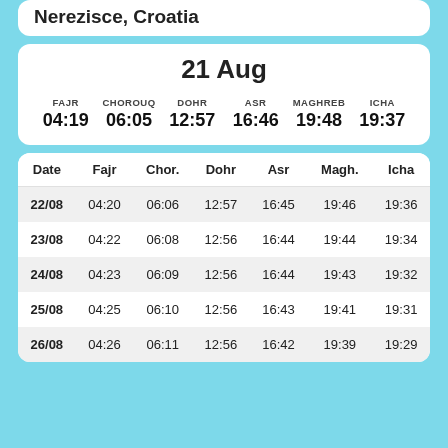Nerezisce, Croatia
21 Aug
| FAJR | CHOROUQ | DOHR | ASR | MAGHREB | ICHA |
| --- | --- | --- | --- | --- | --- |
| 04:19 | 06:05 | 12:57 | 16:46 | 19:48 | 19:37 |
| Date | Fajr | Chor. | Dohr | Asr | Magh. | Icha |
| --- | --- | --- | --- | --- | --- | --- |
| 22/08 | 04:20 | 06:06 | 12:57 | 16:45 | 19:46 | 19:36 |
| 23/08 | 04:22 | 06:08 | 12:56 | 16:44 | 19:44 | 19:34 |
| 24/08 | 04:23 | 06:09 | 12:56 | 16:44 | 19:43 | 19:32 |
| 25/08 | 04:25 | 06:10 | 12:56 | 16:43 | 19:41 | 19:31 |
| 26/08 | 04:26 | 06:11 | 12:56 | 16:42 | 19:39 | 19:29 |